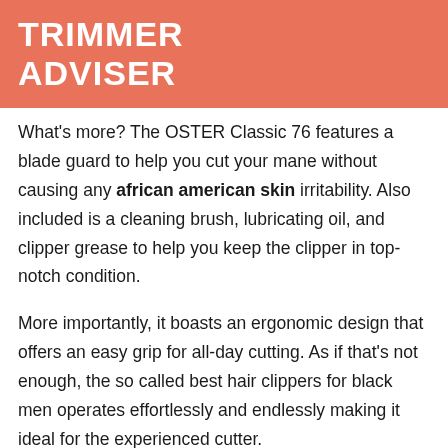TRIMMER ADVISER
What's more? The OSTER Classic 76 features a blade guard to help you cut your mane without causing any african american skin irritability. Also included is a cleaning brush, lubricating oil, and clipper grease to help you keep the clipper in top-notch condition.
More importantly, it boasts an ergonomic design that offers an easy grip for all-day cutting. As if that's not enough, the so called best hair clippers for black men operates effortlessly and endlessly making it ideal for the experienced cutter.